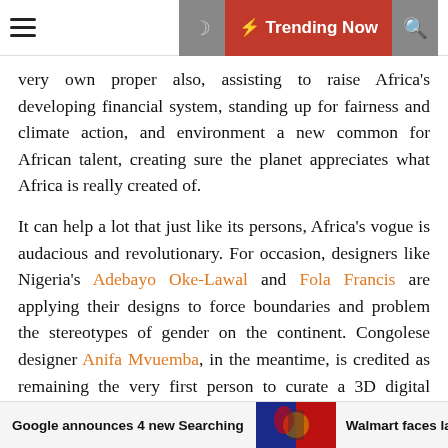☰ ☽ ⚡ Trending Now 🔍
very own proper also, assisting to raise Africa's developing financial system, standing up for fairness and climate action, and environment a new common for African talent, creating sure the planet appreciates what Africa is really created of.
It can help a lot that just like its persons, Africa's vogue is audacious and revolutionary. For occasion, designers like Nigeria's Adebayo Oke-Lawal and Fola Francis are applying their designs to force boundaries and problem the stereotypes of gender on the continent. Congolese designer Anifa Mvuemba, in the meantime, is credited as remaining the very first person to curate a 3D digital vogue demonstrate for her label, Hanifa, which went viral in 2021.
The vogue marketplace is the fourth biggest business in the environment and according to Statista, the world
Google announces 4 new Searching   [image]   Walmart faces la